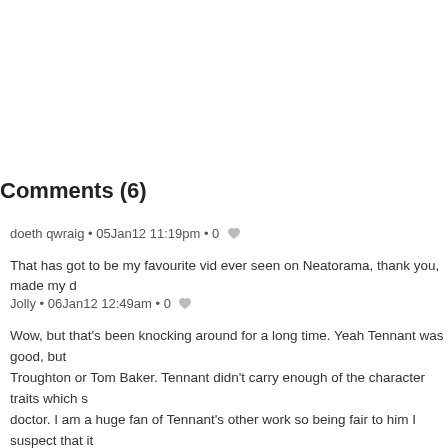Comments (6)
doeth qwraig • 05Jan12 11:19pm • 0 ♡
That has got to be my favourite vid ever seen on Neatorama, thank you, made my d
Jolly • 06Jan12 12:49am • 0 ♡
Wow, but that's been knocking around for a long time. Yeah Tennant was good, but Troughton or Tom Baker. Tennant didn't carry enough of the character traits which s doctor. I am a huge fan of Tennant's other work so being fair to him I suspect that it than Tennant's acting that was at fault. RTDs obsession with soap opera plots and c the show no favours at all. It's interesting that to most Whovians the stand out stori the ones written by Moffat.